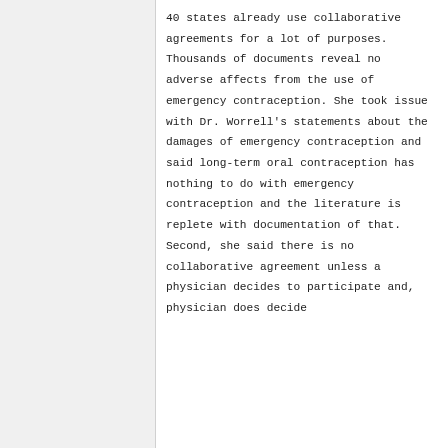40 states already use collaborative agreements for a lot of purposes. Thousands of documents reveal no adverse affects from the use of emergency contraception. She took issue with Dr. Worrell's statements about the damages of emergency contraception and said long-term oral contraception has nothing to do with emergency contraception and the literature is replete with documentation of that.

Second, she said there is no collaborative agreement unless a physician decides to participate and, physician does decide